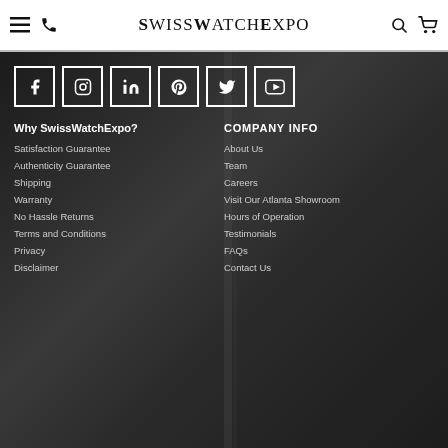SwissWatchExpo navigation header with menu, phone, logo, search, and cart icons
[Figure (logo): Six social media icons in white bordered squares: Facebook, Instagram, LinkedIn, Pinterest, Twitter, YouTube]
Why SwissWatchExpo?
Satisfaction Guarantee
Authenticity Guarantee
Shipping
Warranty
No Hassle Returns
Terms and Conditions
Privacy
Disclaimer
COMPANY INFO
About Us
Team
Careers
Visit Our Atlanta Showroom
Hours of Operation
Testimonials
FAQs
Contact Us